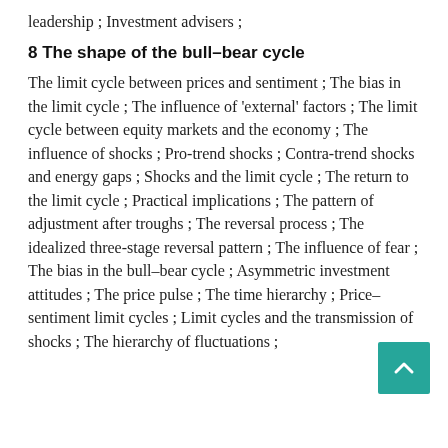leadership ; Investment advisers ;
8 The shape of the bull–bear cycle
The limit cycle between prices and sentiment ; The bias in the limit cycle ; The influence of 'external' factors ; The limit cycle between equity markets and the economy ; The influence of shocks ; Pro-trend shocks ; Contra-trend shocks and energy gaps ; Shocks and the limit cycle ; The return to the limit cycle ; Practical implications ; The pattern of adjustment after troughs ; The reversal process ; The idealized three-stage reversal pattern ; The influence of fear ; The bias in the bull–bear cycle ; Asymmetric investment attitudes ; The price pulse ; The time hierarchy ; Price–sentiment limit cycles ; Limit cycles and the transmission of shocks ; The hierarchy of fluctuations ;